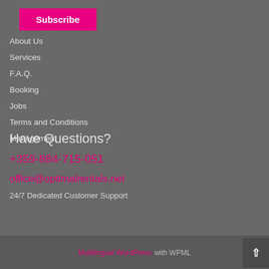Subscribe
About Us
Services
F.A.Q.
Booking
Jobs
Terms and Conditions
Management
Have Questions?
+359-884-715-051
office@optimalrentals.net
24/7 Dedicated Customer Support
Multilingual WordPress with WPML